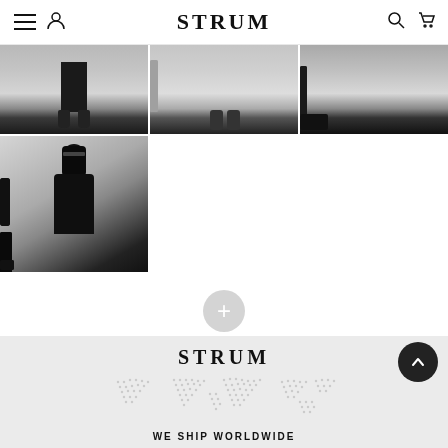STRUM — navigation bar with hamburger menu, user icon, brand name, search icon, cart icon
[Figure (photo): Three cropped photos of people's lower bodies showing shoes/boots against a concrete wall background, arranged in a row]
[Figure (photo): Full-body photo of a person wearing all black outfit with sunglasses, standing against a concrete wall]
[Figure (other): Plus button circle for loading more content]
[Figure (illustration): World map dot pattern illustration]
STRUM
WE SHIP WORLDWIDE